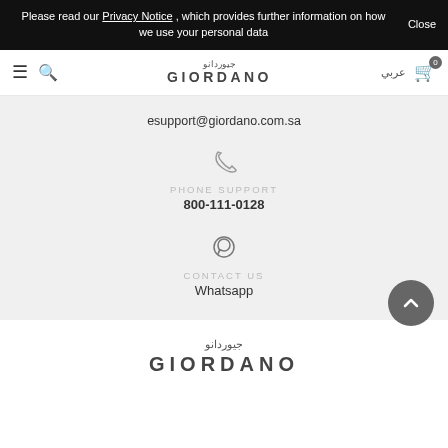Please read our Privacy Notice , which provides further information on how we use your personal data   Close
[Figure (logo): Giordano logo with Arabic text above and Latin text below in navbar]
esupport@giordano.com.sa
PHONE SUPPORT
800-111-0128
CONTACT US
Whatsapp
[Figure (logo): Giordano footer logo with Arabic text above and Latin GIORDANO text below]